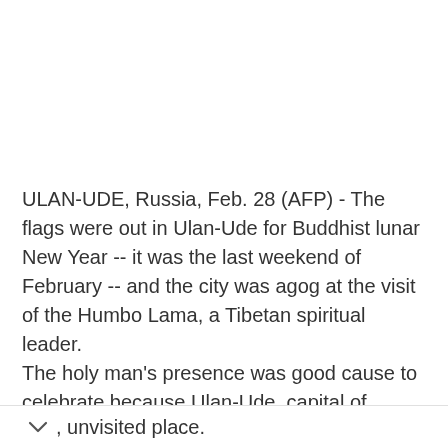ULAN-UDE, Russia, Feb. 28 (AFP) - The flags were out in Ulan-Ude for Buddhist lunar New Year -- it was the last weekend of February -- and the city was agog at the visit of the Humbo Lama, a Tibetan spiritual leader. The holy man's presence was good cause to celebrate because Ulan-Ude, capital of Buryatia, a 500-mile-long Russian republic between Lake Baikal and the Mongolian border, has a reputation as a ..., unvisited place.